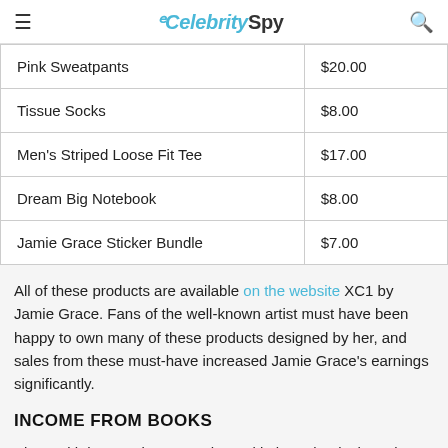eCelebritySpy
| Pink Sweatpants | $20.00 |
| Tissue Socks | $8.00 |
| Men's Striped Loose Fit Tee | $17.00 |
| Dream Big Notebook | $8.00 |
| Jamie Grace Sticker Bundle | $7.00 |
All of these products are available on the website XC1 by Jamie Grace. Fans of the well-known artist must have been happy to own many of these products designed by her, and sales from these must-have increased Jamie Grace's earnings significantly.
INCOME FROM BOOKS
Along with her music career, the multitalented artist has also published a few books. These books include the thoughts life, dating, and relationships from the singer and even